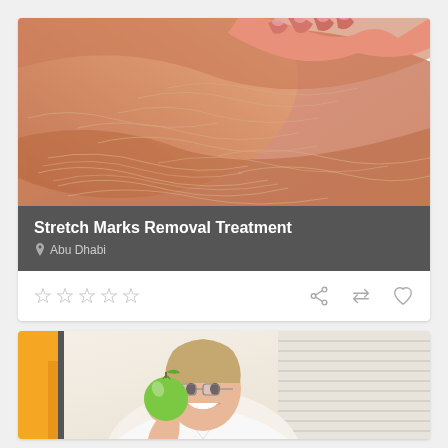[Figure (photo): Close-up of skin with stretch marks on thigh/leg area, hand visible at top]
Stretch Marks Removal Treatment
Abu Dhabi
[Figure (infographic): Five empty star rating icons]
[Figure (infographic): Action icons: share, compare, heart/favorite]
[Figure (photo): Smiling woman in white coat holding a green apple — nutritionist or dietitian]